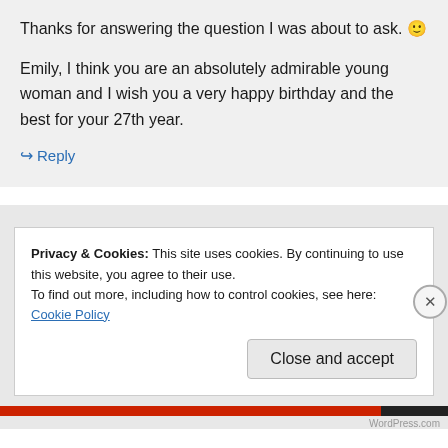Thanks for answering the question I was about to ask. 🙂
Emily, I think you are an absolutely admirable young woman and I wish you a very happy birthday and the best for your 27th year.
↪ Reply
Privacy & Cookies: This site uses cookies. By continuing to use this website, you agree to their use. To find out more, including how to control cookies, see here: Cookie Policy
Close and accept